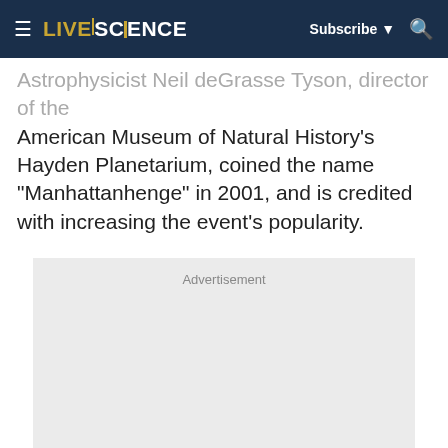LIVESCIENCE — Subscribe ▼ 🔍
Astrophysicist Neil deGrasse Tyson, director of the American Museum of Natural History's Hayden Planetarium, coined the name "Manhattanhenge" in 2001, and is credited with increasing the event's popularity.
[Figure (other): Advertisement placeholder box with light gray background and 'Advertisement' label at top center]